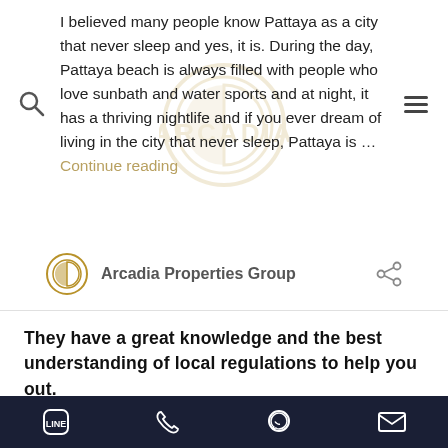I believed many people know Pattaya as a city that never sleep and yes, it is. During the day, Pattaya beach is always filled with people who love sunbath and water sports and at night, it has a thriving nightlife and if you ever dream of living in the city that never sleep, Pattaya is … Continue reading
Arcadia Properties Group
They have a great knowledge and the best understanding of local regulations to help you out.
[Figure (photo): Night photo of a condominium building with text overlay: UNITS FROM 1.399M]
LINE | Phone | WhatsApp | Email